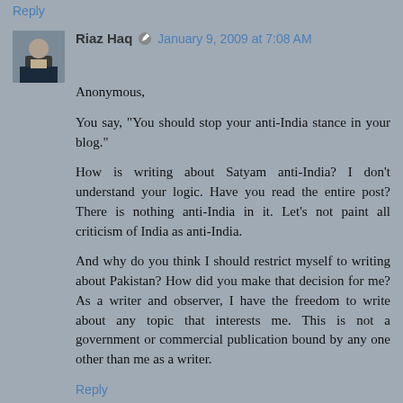Reply
Riaz Haq · January 9, 2009 at 7:08 AM
Anonymous,
You say, "You should stop your anti-India stance in your blog."
How is writing about Satyam anti-India? I don't understand your logic. Have you read the entire post? There is nothing anti-India in it. Let's not paint all criticism of India as anti-India.
And why do you think I should restrict myself to writing about Pakistan? How did you make that decision for me? As a writer and observer, I have the freedom to write about any topic that interests me. This is not a government or commercial publication bound by any one other than me as a writer.
Reply